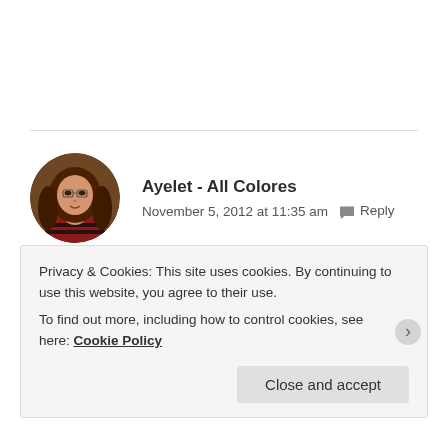[Figure (photo): Circular avatar photo of Ayelet - a woman with long brown hair and glasses, wearing a red and dark striped sweater, in front of a dark wood background.]
Ayelet - All Colores
November 5, 2012 at 11:35 am   Reply
What a great idea to go there when or after it rained! Anything beach-wise looks extra beautiful when it has a winter look 🙂 Gotta try it if winter does decide to come by...
Privacy & Cookies: This site uses cookies. By continuing to use this website, you agree to their use.
To find out more, including how to control cookies, see here: Cookie Policy
Close and accept